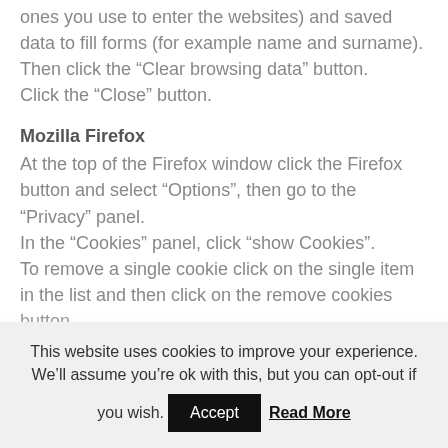ones you use to enter the websites) and saved data to fill forms (for example name and surname).
Then click the “Clear browsing data” button.
Click the “Close” button.
Mozilla Firefox
At the top of the Firefox window click the Firefox button and select “Options”, then go to the “Privacy” panel.
In the “Cookies” panel, click “show Cookies”.
To remove a single cookie click on the single item in the list and then click on the remove cookies button.
To remove all cookies click the Remove all
This website uses cookies to improve your experience. We’ll assume you’re ok with this, but you can opt-out if you wish.
Accept
Read More